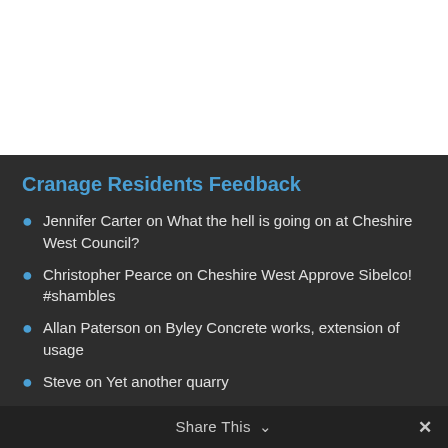Cranage Residents Feedback
Jennifer Carter on What the hell is going on at Cheshire West Council?
Christopher Pearce on Cheshire West Approve Sibelco! #shambles
Allan Paterson on Byley Concrete works, extension of usage
Steve on Yet another quarry
Ian Bamber on What the hell is going on at Cheshire West Council?
Share This ∨  ✕